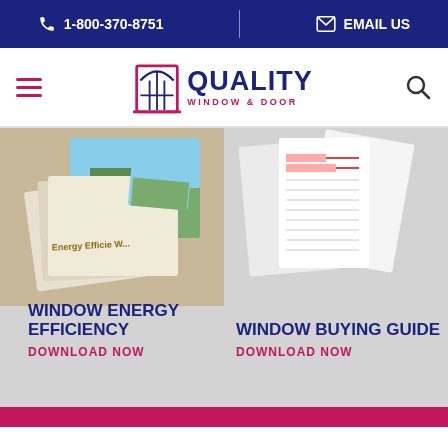1-800-370-8751   EMAIL US
[Figure (logo): Quality Window & Door logo with architectural window icon]
[Figure (photo): Window Energy Efficiency brochure/booklet spread showing energy efficient windows]
[Figure (photo): Window Buying Guide documents/forms spread]
WINDOW ENERGY EFFICIENCY
DOWNLOAD NOW
WINDOW BUYING GUIDE
DOWNLOAD NOW